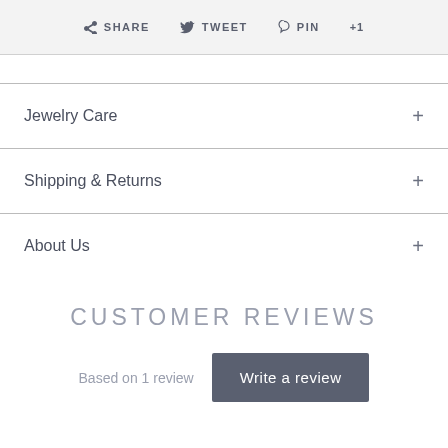f SHARE  🐦 TWEET  ♡ PIN  +1
Jewelry Care +
Shipping & Returns +
About Us +
CUSTOMER REVIEWS
Based on 1 review  Write a review